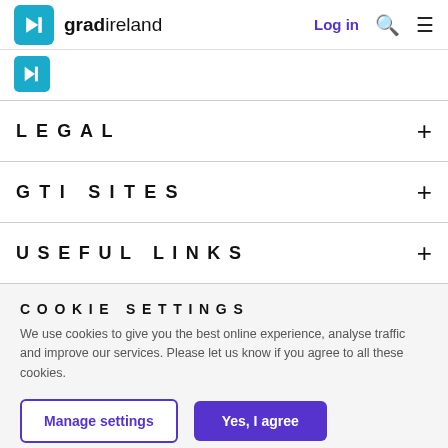gradireland — Log in
[Figure (logo): gradireland logo with blue arrow icon]
LEGAL
GTI SITES
USEFUL LINKS
COOKIE SETTINGS
We use cookies to give you the best online experience, analyse traffic and improve our services. Please let us know if you agree to all these cookies.
Manage settings | Yes, I agree